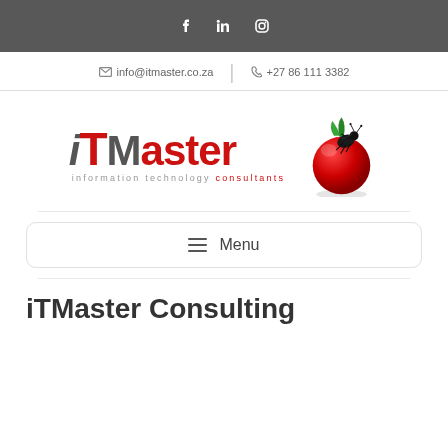Social media icons: Facebook, LinkedIn, Instagram
info@itmaster.co.za  |  +27 86 111 3382
[Figure (logo): iTMaster information technology consultants logo with red tomato and bug graphic]
☰  Menu
iTMaster Consulting